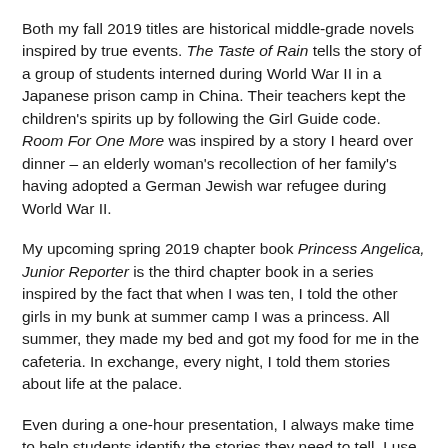Both my fall 2019 titles are historical middle-grade novels inspired by true events. The Taste of Rain tells the story of a group of students interned during World War II in a Japanese prison camp in China. Their teachers kept the children's spirits up by following the Girl Guide code. Room For One More was inspired by a story I heard over dinner – an elderly woman's recollection of her family's having adopted a German Jewish war refugee during World War II.
My upcoming spring 2019 chapter book Princess Angelica, Junior Reporter is the third chapter book in a series inspired by the fact that when I was ten, I told the other girls in my bunk at summer camp I was a princess. All summer, they made my bed and got my food for me in the cafeteria. In exchange, every night, I told them stories about life at the palace.
Even during a one-hour presentation, I always make time to help students identify the stories they need to tell. I use a memory exercise to help students access material from their own lives. It's an exercise I have used successfully with elementary school students as well as seniors.
Finally, during my talks, I always take time to explain that it was